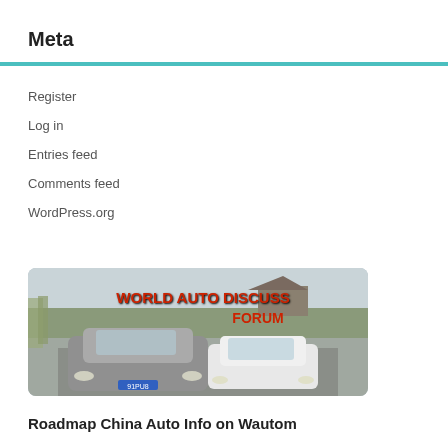Meta
Register
Log in
Entries feed
Comments feed
WordPress.org
[Figure (photo): Two cars (a grey Mercedes and a white BMW) driving on a road with a banner reading 'WORLD AUTO DISCUSS FORUM' in red stylized text. Background shows bare trees and an East Asian-style building.]
Roadmap China Auto Info on Wautom